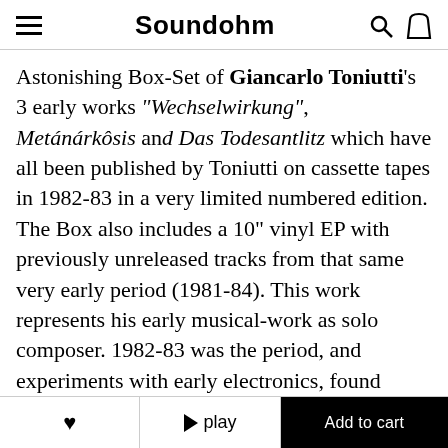Soundohm
Astonishing Box-Set of Giancarlo Toniutti's 3 early works “Wechselwirkung”, Metánárkôsis and Das Todesantlitz which have all been published by Toniutti on cassette tapes in 1982-83 in a very limited numbered edition. The Box also includes a 10" vinyl EP with previously unreleased tracks from that same very early period (1981-84). This work represents his early musical-work as solo composer. 1982-83 was the period, and experiments with early electronics, found objects, rough percussion and noise were the attitudes that coalesce into his first 3 cassette works found on this box. This past time becomes